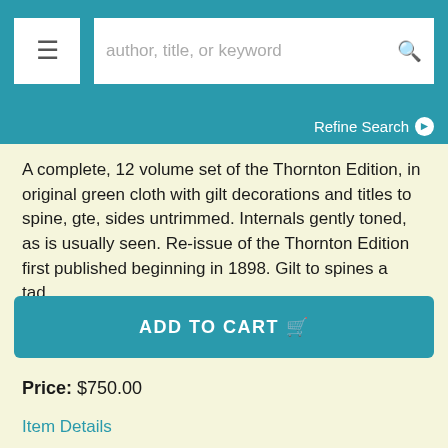[Figure (screenshot): Website header with hamburger menu button and search bar with placeholder text 'author, title, or keyword']
Refine Search ▶
A complete, 12 volume set of the Thornton Edition, in original green cloth with gilt decorations and titles to spine, gte, sides untrimmed. Internals gently toned, as is usually seen. Re-issue of the Thornton Edition first published beginning in 1898. Gilt to spines a tad..... More >
ADD TO CART 🛒
Price: $750.00
Item Details
Ask a Question